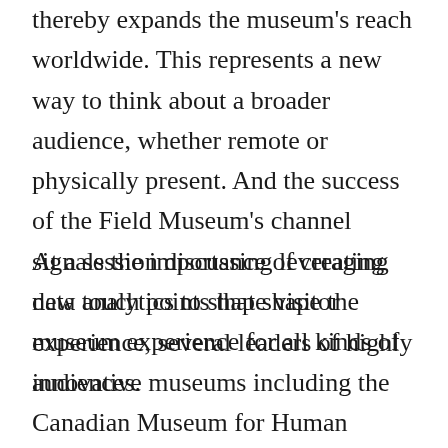thereby expands the museum's reach worldwide. This represents a new way to think about a broader audience, whether remote or physically present. And the success of the Field Museum's channel signals the importance of creating new touch points that shape the museum experience for all kinds of audiences.
At a session discussing leveraging data analytics to shape visitor experience, several leaders of highly innovative museums including the Canadian Museum for Human Rights, discussed what can be gleaned from retail research to rethink methods of visitor engagement. They introduced museum leaders to the term omni-